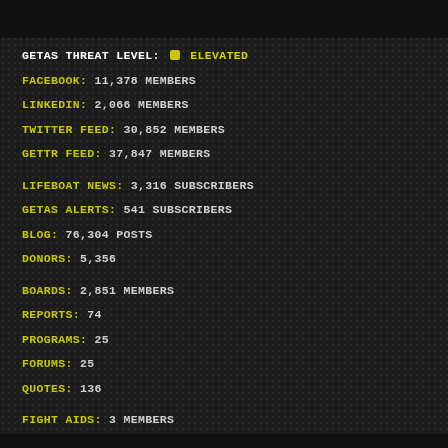GETAS THREAT LEVEL: ELEVATED
FACEBOOK: 11,378 MEMBERS
LINKEDIN: 2,066 MEMBERS
TWITTER FEED: 30,852 MEMBERS
GETTR FEED: 37,847 MEMBERS
LIFEBOAT NEWS: 3,316 SUBSCRIBERS
GETAS ALERTS: 541 SUBSCRIBERS
BLOG: 76,304 POSTS
DONORS: 5,356
BOARDS: 2,851 MEMBERS
REPORTS: 74
PROGRAMS: 25
FORUMS: 25
QUOTES: 136
FIGHT AIDS: 3 MEMBERS